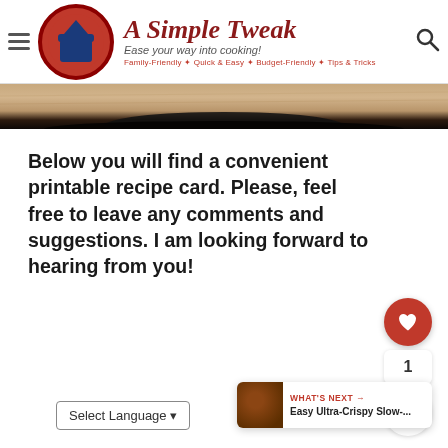A Simple Tweak — Ease your way into cooking! — Family-Friendly • Quick & Easy • Budget-Friendly • Tips & Tricks
[Figure (photo): Partial food photo strip showing a wooden surface and dark cookware/plate edge]
Below you will find a convenient printable recipe card. Please, feel free to leave any comments and suggestions. I am looking forward to hearing from you!
[Figure (screenshot): Floating UI: heart/like button (red circle with heart, count of 1), share button (white circle with share icon)]
[Figure (screenshot): WHAT'S NEXT → Easy Ultra-Crispy Slow-... with thumbnail of crispy food]
Select Language